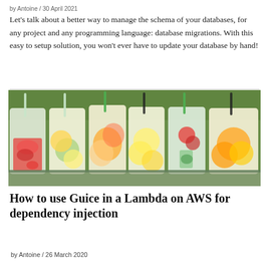by Antoine / 30 April 2021
Let's talk about a better way to manage the schema of your databases, for any project and any programming language: database migrations. With this easy to setup solution, you won't ever have to update your database by hand!
[Figure (photo): Six mason jars filled with colorful fruit-infused water drinks with straws, set on a surface with green foliage in the background.]
How to use Guice in a Lambda on AWS for dependency injection
by Antoine / 26 March 2020